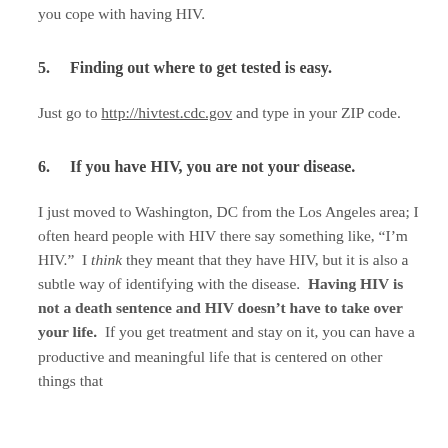you cope with having HIV.
5.    Finding out where to get tested is easy.
Just go to http://hivtest.cdc.gov and type in your ZIP code.
6.    If you have HIV, you are not your disease.
I just moved to Washington, DC from the Los Angeles area; I often heard people with HIV there say something like, “I’m HIV.”  I think they meant that they have HIV, but it is also a subtle way of identifying with the disease.  Having HIV is not a death sentence and HIV doesn’t have to take over your life.  If you get treatment and stay on it, you can have a productive and meaningful life that is centered on other things that